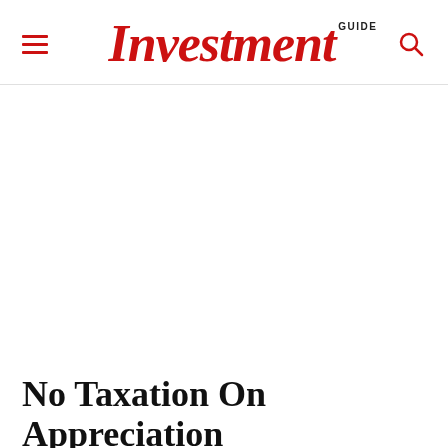Investment GUIDE
No Taxation On Appreciation